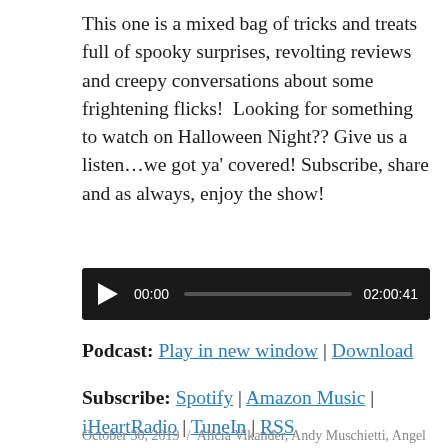This one is a mixed bag of tricks and treats full of spooky surprises, revolting reviews and creepy conversations about some frightening flicks!  Looking for something to watch on Halloween Night?? Give us a listen…we got ya' covered! Subscribe, share and as always, enjoy the show!
[Figure (other): Audio player widget showing play button, current time 00:00, progress bar, and total duration 02:00:41 on a black background]
Podcast: Play in new window | Download
Subscribe: Spotify | Amazon Music | iHeartRadio | TuneIn | RSS
October 30, 2019 / Alicia Vikander, Andy Muschietti, Angel